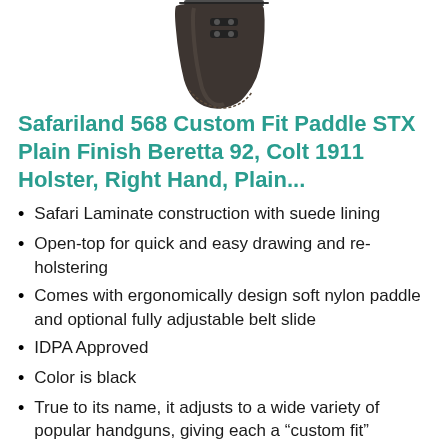[Figure (photo): Product photo of a Safariland 568 holster, dark/black leather paddle holster shown from a slight angle against white background.]
Safariland 568 Custom Fit Paddle STX Plain Finish Beretta 92, Colt 1911 Holster, Right Hand, Plain...
Safari Laminate construction with suede lining
Open-top for quick and easy drawing and re-holstering
Comes with ergonomically design soft nylon paddle and optional fully adjustable belt slide
IDPA Approved
Color is black
True to its name, it adjusts to a wide variety of popular handguns, giving each a “custom fit”
One of the lightest, thinnest, best fitting concealment holsters available
Ergonomic, injection molded paddle designed for